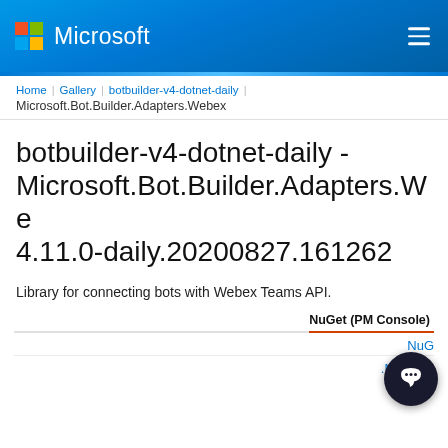[Figure (logo): Microsoft logo with colorful four-square Windows icon and 'Microsoft' wordmark in white on blue gradient header bar]
Microsoft
Home | Gallery | botbuilder-v4-dotnet-daily | Microsoft.Bot.Builder.Adapters.Webex
botbuilder-v4-dotnet-daily - Microsoft.Bot.Builder.Adapters.Webex 4.11.0-daily.20200827.161262
Library for connecting bots with Webex Teams API.
NuGet (PM Console)
NuGet
.NET CLI